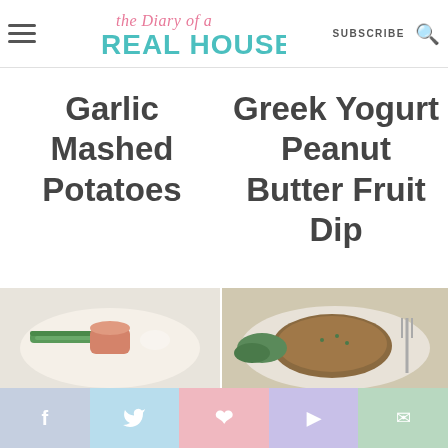the Diary of a Real Housewife — SUBSCRIBE
Garlic Mashed Potatoes
Greek Yogurt Peanut Butter Fruit Dip
[Figure (photo): Food photo on left — asparagus wrapped dish on a white plate]
[Figure (photo): Food photo on right — breaded meat with greens and fork]
Social share bar: Facebook, Twitter, Pinterest, YouTube, Email